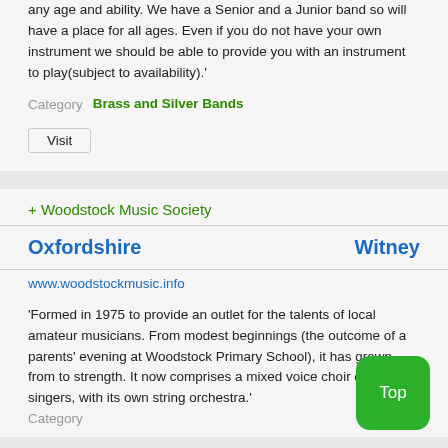any age and ability. We have a Senior and a Junior band so will have a place for all ages. Even if you do not have your own instrument we should be able to provide you with an instrument to play(subject to availability).'
Category  Brass and Silver Bands
Visit
+ Woodstock Music Society
Oxfordshire   Witney
www.woodstockmusic.info
'Formed in 1975 to provide an outlet for the talents of local amateur musicians. From modest beginnings (the outcome of a parents' evening at Woodstock Primary School), it has grown from to strength. It now comprises a mixed voice choir of about singers, with its own string orchestra.'
Category